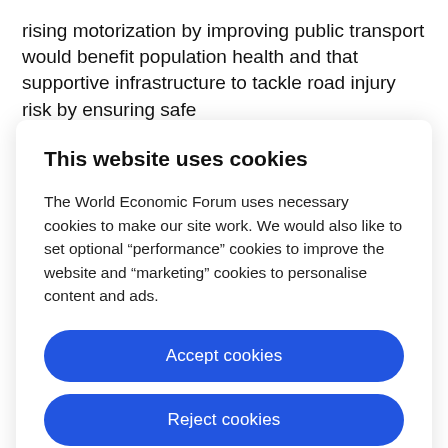rising motorization by improving public transport would benefit population health and that supportive infrastructure to tackle road injury risk by ensuring safe
This website uses cookies
The World Economic Forum uses necessary cookies to make our site work. We would also like to set optional “performance” cookies to improve the website and “marketing” cookies to personalise content and ads.
Accept cookies
Reject cookies
Cookie settings